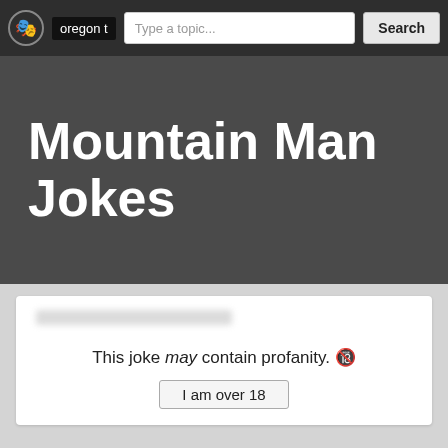oregon t  Type a topic...  Search
Mountain Man Jokes
This joke may contain profanity. 🔞
I am over 18